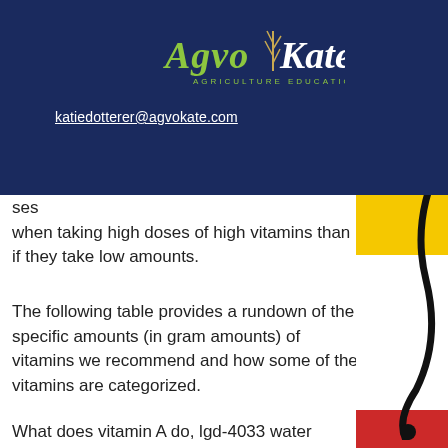[Figure (logo): AgvoKate Agriculture Education logo with stylized text and wheat/plant icon]
katiedotterer@agvokate.com
...mins ...ght ...me ...ses when taking high doses of high vitamins than if they take low amounts.
The following table provides a rundown of the specific amounts (in gram amounts) of vitamins we recommend and how some of the vitamins are categorized.
What does vitamin A do, lgd-4033 water retention?
Vitamin A is a compound found in certain foods that plays an important role in the body creating vitamin A which is used for